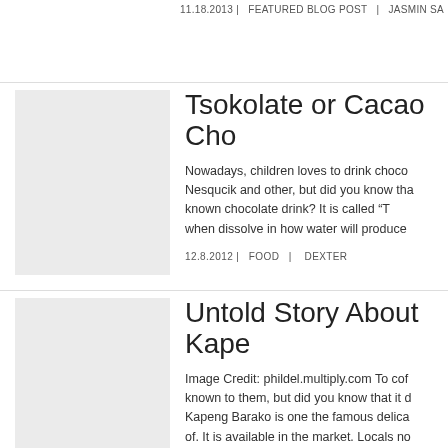11.18.2013 | FEATURED BLOG POST | JASMIN SA...
Tsokolate or Cacao Cho...
Nowadays, children loves to drink choco... Nesqucik and other, but did you know tha... known chocolate drink? It is called “T... when dissolve in how water will produce...
12.8.2012 | FOOD | DEXTER
Untold Story About Kape...
Image Credit: phildel.multiply.com To cof... known to them, but did you know that it d... Kapeng Barako is one the famous delica... of. It is available in the market. Locals no... morning.
12.6.2012 | FOOD | DEXTER